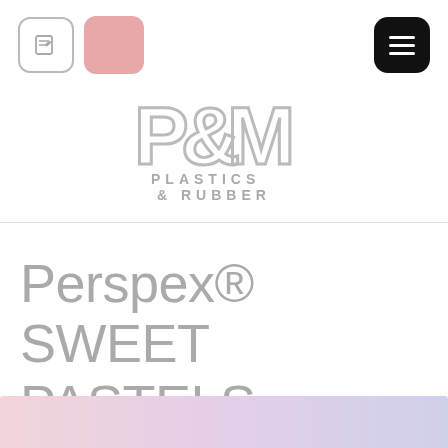[Figure (logo): Navigation header with edit icon button (outlined rounded square with pencil/edit icon), pink rounded square, and black rounded square hamburger menu icon on the right]
[Figure (logo): P&M Plastics & Rubber logo — large outlined block letters P, &, M above the text PLASTICS & RUBBER in gray spaced capitals]
Perspex® SWEET PASTELS
[Figure (illustration): Bottom pastel gradient strip — soft pink to lavender to light blue gradient band at the bottom of the page]